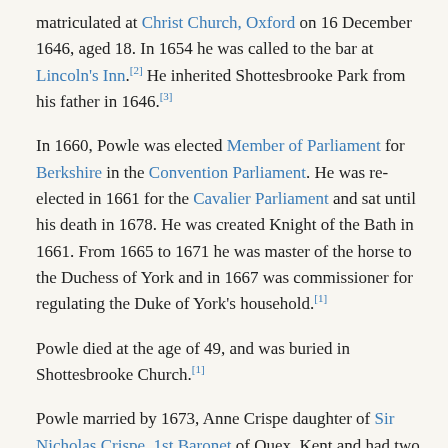matriculated at Christ Church, Oxford on 16 December 1646, aged 18. In 1654 he was called to the bar at Lincoln's Inn.[2] He inherited Shottesbrooke Park from his father in 1646.[3]
In 1660, Powle was elected Member of Parliament for Berkshire in the Convention Parliament. He was re-elected in 1661 for the Cavalier Parliament and sat until his death in 1678. He was created Knight of the Bath in 1661. From 1665 to 1671 he was master of the horse to the Duchess of York and in 1667 was commissioner for regulating the Duke of York's household.[1]
Powle died at the age of 49, and was buried in Shottesbrooke Church.[1]
Powle married by 1673, Anne Crispe daughter of Sir Nicholas Crispe, 1st Baronet of Quex, Kent and had two sons.[1] His brother Henry Powle was Speaker of the House of Commons of England from January 1689 to